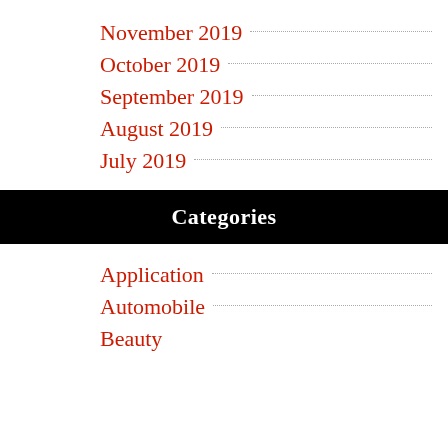November 2019
October 2019
September 2019
August 2019
July 2019
Categories
Application
Automobile
Beauty